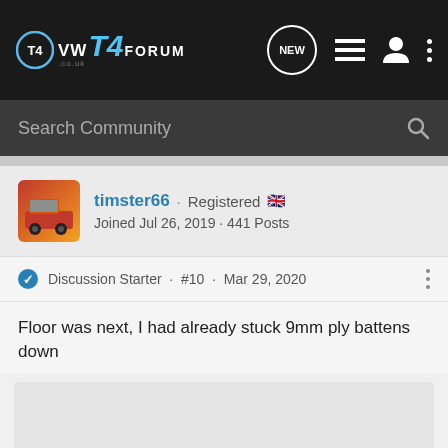[Figure (logo): VW T4 Forum logo with circular icon, 'VW T4 FORUM' text in white/blue on dark background]
VW T4 FORUM - Navigation bar with NEW button, list icon, user icon, and more options
Search Community
[Figure (photo): User avatar thumbnail showing orange VW T4 van]
timster66 · Registered 🇬🇧 Joined Jul 26, 2019 · 441 Posts
Discussion Starter · #10 · Mar 29, 2020
Floor was next, I had already stuck 9mm ply battens down
[Figure (photo): Image placeholder - light grey rectangle, content not visible]